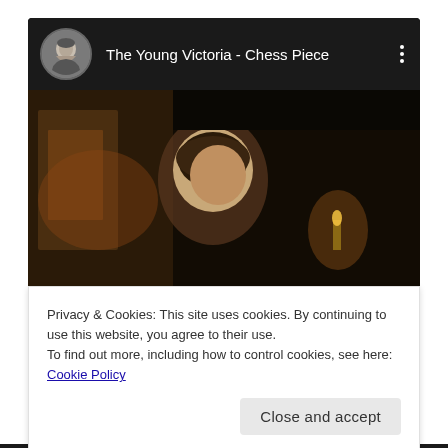[Figure (screenshot): YouTube embedded video player showing 'The Young Victoria - Chess Piece' with a circular avatar thumbnail on the left, the video title in white text, a three-dot menu icon, and a darkened video frame with a red YouTube play button overlaid on a scene from the film.]
Privacy & Cookies: This site uses cookies. By continuing to use this website, you agree to their use.
To find out more, including how to control cookies, see here: Cookie Policy
Close and accept